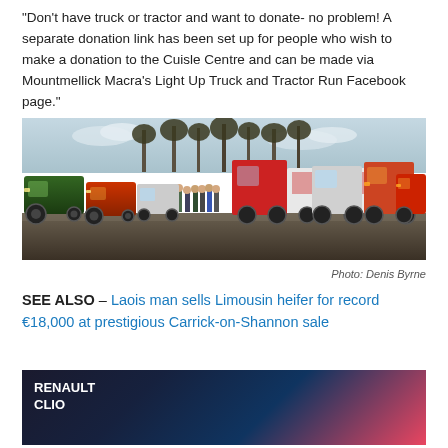“Don’t have truck or tractor and want to donate- no problem! A separate donation link has been set up for people who wish to make a donation to the Cuisle Centre and can be made via Mountmellick Macra’s Light Up Truck and Tractor Run Facebook page.”
[Figure (photo): A row of tractors and trucks lined up in a car park with bare trees in the background, and a group of people standing in front of the vehicles.]
Photo: Denis Byrne
SEE ALSO – Laois man sells Limousin heifer for record €18,000 at prestigious Carrick-on-Shannon sale
[Figure (photo): Renault Clio advertisement banner showing a car in motion.]